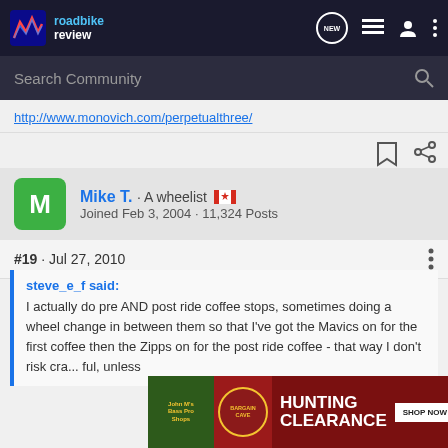roadbike review — navigation bar with NEW, list, user, and menu icons
Search Community
http://www.monovich.com/perpetualthree/
Mike T. · A wheelist 🇨🇦
Joined Feb 3, 2004 · 11,324 Posts
#19 · Jul 27, 2010
steve_e_f said:
I actually do pre AND post ride coffee stops, sometimes doing a wheel change in between them so that I've got the Mavics on for the first coffee then the Zipps on for the post ride coffee - that way I don't risk cra... ful, unless...
[Figure (screenshot): Bass Pro Shops Hunting Clearance advertisement banner with BARGAIN CAVE logo and SHOP NOW button]